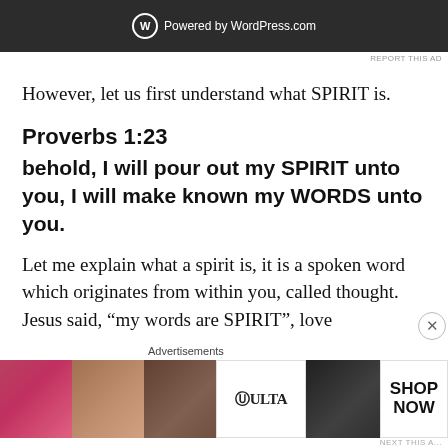[Figure (screenshot): Dark grey WordPress.com banner ad showing the WordPress logo and 'Powered by WordPress.com' text on a dark background]
REPORT THIS AD
However, let us first understand what SPIRIT is.
Proverbs 1:23
behold, I will pour out my SPIRIT unto you, I will make known my WORDS unto you.
Let me explain what a spirit is, it is a spoken word which originates from within you, called thought. Jesus said, “my words are SPIRIT”, love
Advertisements
[Figure (photo): Ulta Beauty advertisement banner showing cosmetic product images including lipstick, makeup brush, eye, Ulta logo, and eye closeup with SHOP NOW text]